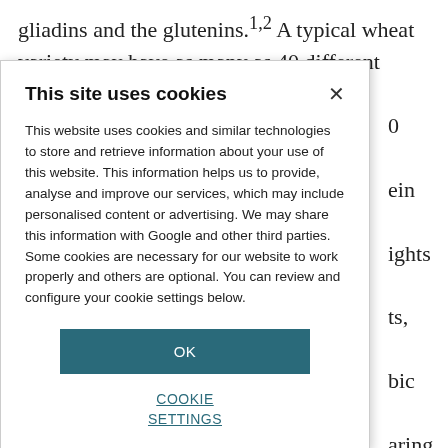gliadins and the glutenins.1,2 A typical wheat variety may have as many as 40 different gliadins, whose 0 and 55,000. In ein macro- ights may exceed ts, all the gluten bic amino acids, aring amino acid en bonds between physical addition, the s contain thiol which form n macro-polymer cent research ed between the
This site uses cookies

This website uses cookies and similar technologies to store and retrieve information about your use of this website. This information helps us to provide, analyse and improve our services, which may include personalised content or advertising. We may share this information with Google and other third parties. Some cookies are necessary for our website to work properly and others are optional. You can review and configure your cookie settings below.

OK

COOKIE SETTINGS